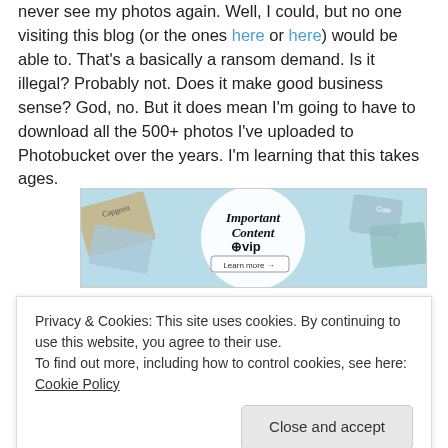never see my photos again. Well, I could, but no one visiting this blog (or the ones here or here) would be able to. That's a basically a ransom demand. Is it illegal? Probably not. Does it make good business sense? God, no. But it does mean I'm going to have to download all the 500+ photos I've uploaded to Photobucket over the years. I'm learning that this takes ages.
[Figure (screenshot): Advertisement banner for WordPress VIP 'Important Content' with a Learn more button, shown over a decorative background of stationery/cards.]
Privacy & Cookies: This site uses cookies. By continuing to use this website, you agree to their use. To find out more, including how to control cookies, see here: Cookie Policy